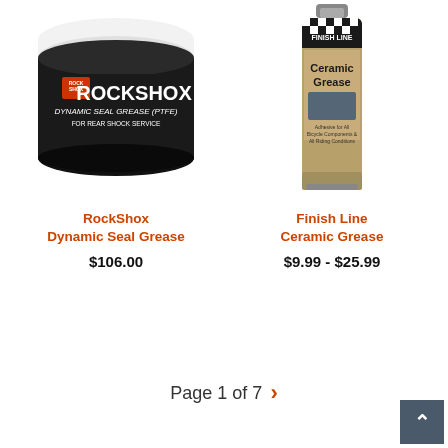[Figure (photo): RockShox Dynamic Seal Grease (PTFE) for Rear Shock Service - round black and white container]
RockShox
Dynamic Seal Grease
$106.00
[Figure (photo): Finish Line Ceramic Grease - tube with checkered flag logo]
Finish Line
Ceramic Grease
$9.99 - $25.99
Page 1 of 7 >